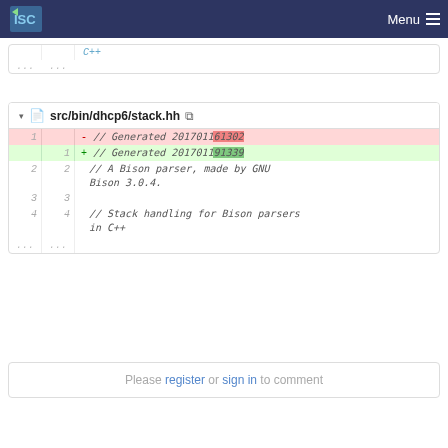ISC Menu
[Figure (screenshot): Truncated diff showing C++ line]
[Figure (screenshot): Code diff block for src/bin/dhcp6/stack.hh showing removed line '// Generated 201701161302' and added line '// Generated 201701191339', plus unchanged lines for Bison parser comments]
Please register or sign in to comment